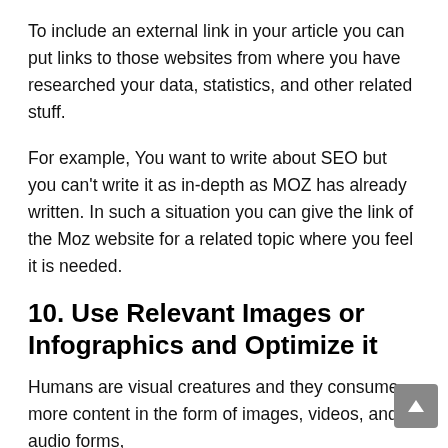To include an external link in your article you can put links to those websites from where you have researched your data, statistics, and other related stuff.
For example, You want to write about SEO but you can't write it as in-depth as MOZ has already written. In such a situation you can give the link of the Moz website for a related topic where you feel it is needed.
10. Use Relevant Images or Infographics and Optimize it
Humans are visual creatures and they consume more content in the form of images, videos, and audio forms,